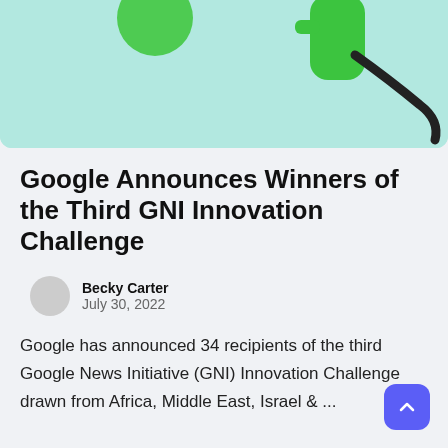[Figure (photo): Partial view of a green whistle with a black lanyard on a light mint/teal background]
Google Announces Winners of the Third GNI Innovation Challenge
Becky Carter
July 30, 2022
Google has announced 34 recipients of the third Google News Initiative (GNI) Innovation Challenge drawn from Africa, Middle East, Israel & ...